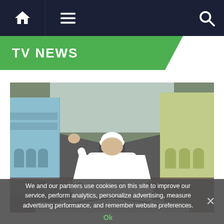TV NEWS
[Figure (photo): Pope Francis seen from behind, wearing white robes and white zucchetto, waving to crowds lining a street in Havana, Cuba, with colorful colonial architecture on both sides]
We and our partners use cookies on this site to improve our service, perform analytics, personalize advertising, measure advertising performance, and remember website preferences.
Ok